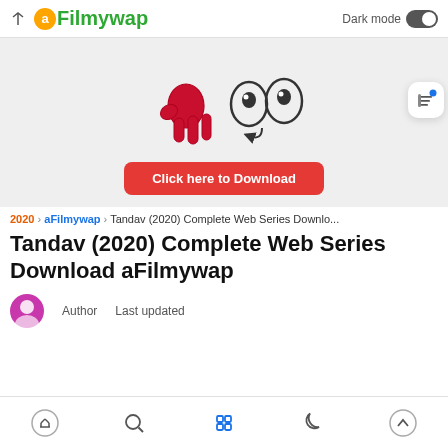aFilmywap — Dark mode
[Figure (illustration): Mascot illustration: red hand-like figure pointing, with cartoon eyes looking at it, on a light grey background]
Click here to Download
2020 › aFilmywap › Tandav (2020) Complete Web Series Downlo...
Tandav (2020) Complete Web Series Download aFilmywap
Author   Last updated
Navigation bar icons: home, search, grid, moon, up-arrow